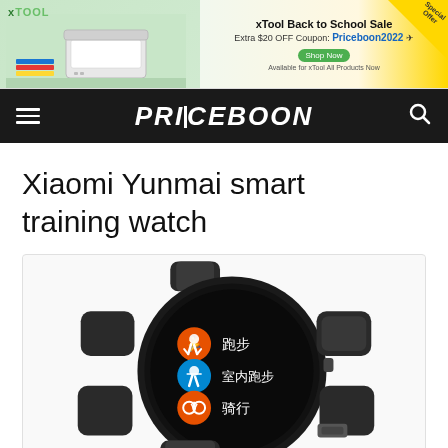[Figure (photo): xTool Back to School Sale advertisement banner with laser engraver machine image, Extra $20 OFF Coupon: Priceboon2022, Shop Now button, Special Offer corner tag]
PRICEBOON
Xiaomi Yunmai smart training watch
[Figure (photo): Xiaomi Yunmai smart training watch product photo showing a dark round smartwatch with Chinese text menu options: 跑步 (Running), 室内跑步 (Indoor Running), 骑行 (Cycling) with colored icon buttons]